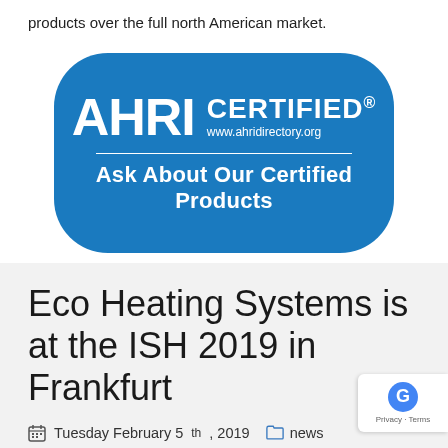products over the full north American market.
[Figure (logo): AHRI CERTIFIED badge - blue rounded rectangle with white text: AHRI CERTIFIED, www.ahridirectory.org, Ask About Our Certified Products]
Eco Heating Systems is at the ISH 2019 in Frankfurt
Tuesday February 5th, 2019  news